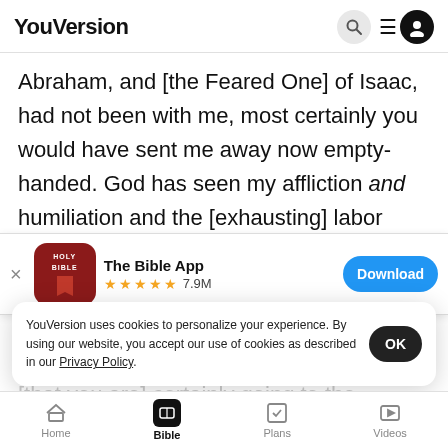YouVersion
Abraham, and [the Feared One] of Isaac, had not been with me, most certainly you would have sent me away now empty-handed. God has seen my affliction and humiliation and the [exhausting] labor
[Figure (screenshot): App download banner for The Bible App with Holy Bible icon, 5-star rating, 7.9M reviews, and Download button]
The Co
43  La
YouVersion uses cookies to personalize your experience. By using our website, you accept our use of cookies as described in our Privacy Policy.
Home  Bible  Plans  Videos